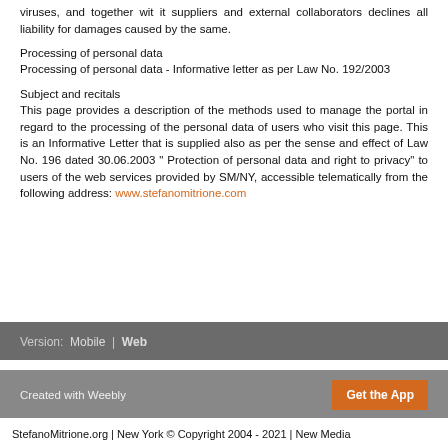viruses, and together wit it suppliers and external collaborators declines all liability for damages caused by the same.
Processing of personal data
Processing of personal data - Informative letter as per Law No. 192/2003
Subject and recitals
This page provides a description of the methods used to manage the portal in regard to the processing of the personal data of users who visit this page. This is an Informative Letter that is supplied also as per the sense and effect of Law No. 196 dated 30.06.2003 " Protection of personal data and right to privacy" to users of the web services provided by SM/NY, accessible telematically from the following address: www.stefanomitrione.com
Version: Mobile | Web
Created with Weebly   Get the App
StefanoMitrione.org | New York © Copyright 2004 - 2021 | New Media